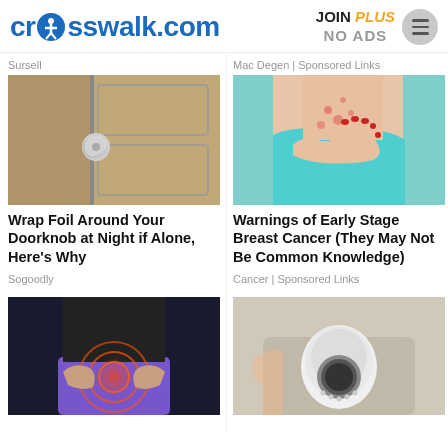crosswalk.com | JOIN PLUS NO ADS
Sursell
Mac Degen | Sponsored Links
[Figure (photo): Doorknob wrapped in aluminum foil on a door]
[Figure (photo): Person scratching chest area showing skin irritation, wearing teal top with red nails]
Wrap Foil Around Your Doorknob at Night if Alone, Here's Why
Warnings of Early Stage Breast Cancer (They May Not Be Common Knowledge)
Sogoodly
Cancer | Sponsored Links
[Figure (photo): Person holding lower back/hip area with pain visualization, wearing black top and purple pants]
[Figure (photo): Hand holding a white security camera device]